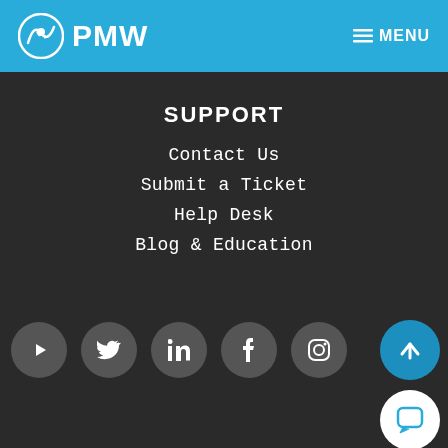PMW  MENU
SUPPORT
Contact Us
Submit a Ticket
Help Desk
Blog & Education
[Figure (infographic): Row of social media icons in dark grey circles: YouTube, Twitter, LinkedIn, Facebook, Instagram. Plus a blue circle with upward arrow (scroll-to-top) and a white circle with chat bubble icon.]
[Figure (logo): PMW logo partially visible at bottom of page]